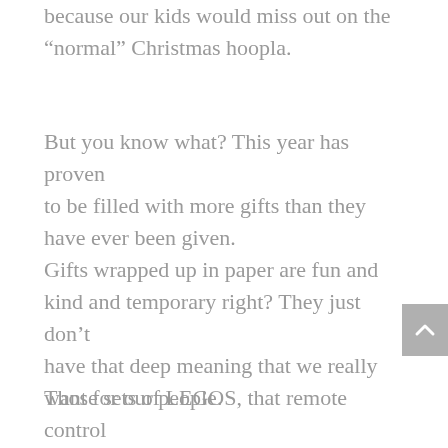because our kids would miss out on the “normal” Christmas hoopla.
But you know what? This year has proven to be filled with more gifts than they have ever been given.
Gifts wrapped up in paper are fun and kind and temporary right? They just don’t have that deep meaning that we really want for our people.
Those sets of LEGOS, that remote control anything, and all the really cool devices that everyone had on the top of their lists last year... are all so BORING now